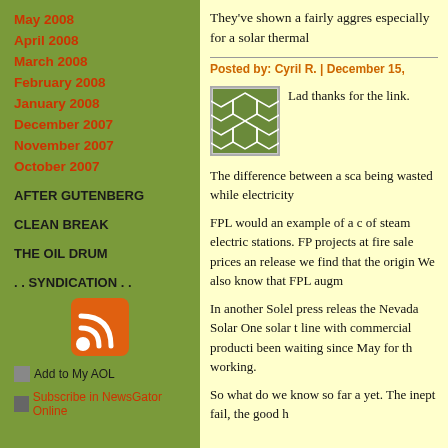May 2008
April 2008
March 2008
February 2008
January 2008
December 2007
November 2007
October 2007
AFTER GUTENBERG
CLEAN BREAK
THE OIL DRUM
. . SYNDICATION . .
[Figure (illustration): RSS feed orange icon]
Add to My AOL
Subscribe in NewsGator Online
They've shown a fairly aggres especially for a solar thermal
Posted by: Cyril R. | December 15,
Lad thanks for the link.
[Figure (illustration): Green soccer ball / hexagonal pattern avatar icon]
The difference between a sca being wasted while electricity
FPL would an example of a c of steam electric stations. FP projects at fire sale prices an release we find that the origin We also know that FPL augm
In another Solel press releas the Nevada Solar One solar t line with commercial producti been waiting since May for th working.
So what do we know so far a yet. The inept fail, the good h